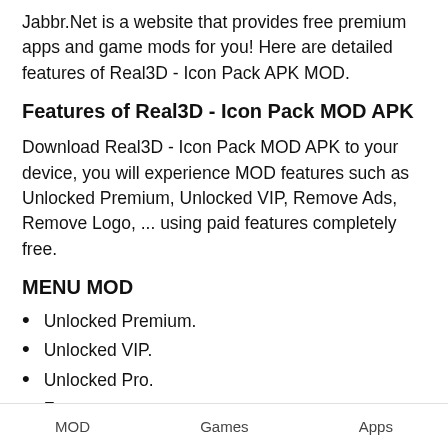Jabbr.Net is a website that provides free premium apps and game mods for you! Here are detailed features of Real3D - Icon Pack APK MOD.
Features of Real3D - Icon Pack MOD APK
Download Real3D - Icon Pack MOD APK to your device, you will experience MOD features such as Unlocked Premium, Unlocked VIP, Remove Ads, Remove Logo, ... using paid features completely free.
MENU MOD
Unlocked Premium.
Unlocked VIP.
Unlocked Pro.
Free.
MOD Paid.
MOD   Games   Apps